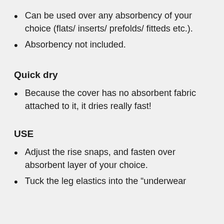Can be used over any absorbency of your choice (flats/ inserts/ prefolds/ fitteds etc.).
Absorbency not included.
Quick dry
Because the cover has no absorbent fabric attached to it, it dries really fast!
USE
Adjust the rise snaps, and fasten over absorbent layer of your choice.
Tuck the leg elastics into the “underwear